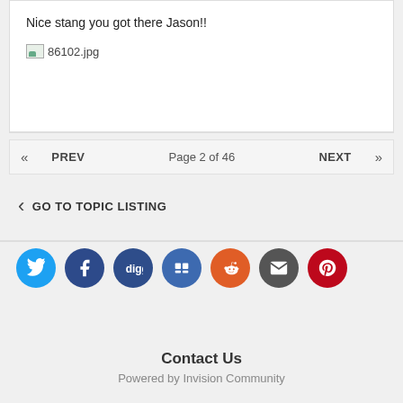Nice stang you got there Jason!!
[Figure (other): Broken image placeholder labeled 86102.jpg]
Page 2 of 46
PREV
NEXT
GO TO TOPIC LISTING
[Figure (other): Row of social media share icons: Twitter, Facebook, Digg, Delicious, Reddit, Email, Pinterest]
Contact Us
Powered by Invision Community